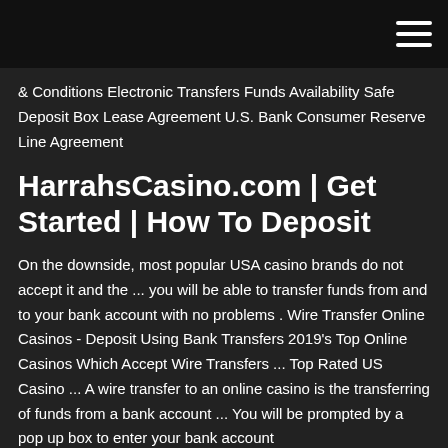& Conditions Electronic Transfers Funds Availability Safe Deposit Box Lease Agreement U.S. Bank Consumer Reserve Line Agreement
HarrahsCasino.com | Get Started | How To Deposit
On the downside, most popular USA casino brands do not accept it and the ... you will be able to transfer funds from and to your bank account with no problems . Wire Transfer Online Casinos - Deposit Using Bank Transfers 2019's Top Online Casinos Which Accept Wire Transfers ... Top Rated US Casino ... A wire transfer to an online casino is the transferring of funds from a bank account ... You will be prompted by a pop up box to enter your bank account